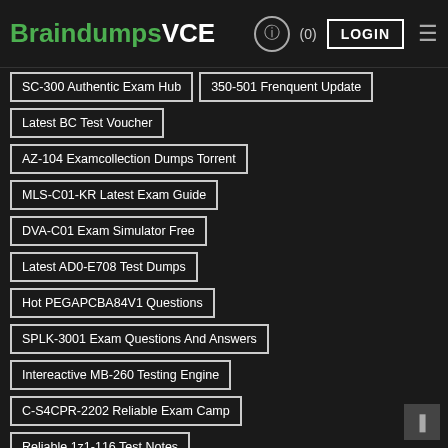BraindumpsVCE (0) LOGIN
SC-300 Authentic Exam Hub
350-501 Frenquent Update
Latest BC Test Voucher
AZ-104 Examcollection Dumps Torrent
MLS-C01-KR Latest Exam Guide
DVA-C01 Exam Simulator Free
Latest AD0-E708 Test Dumps
Hot PEGAPCBA84V1 Questions
SPLK-3001 Exam Questions And Answers
Intereactive MB-260 Testing Engine
C-S4CPR-2202 Reliable Exam Camp
Reliable 1z1-116 Test Notes